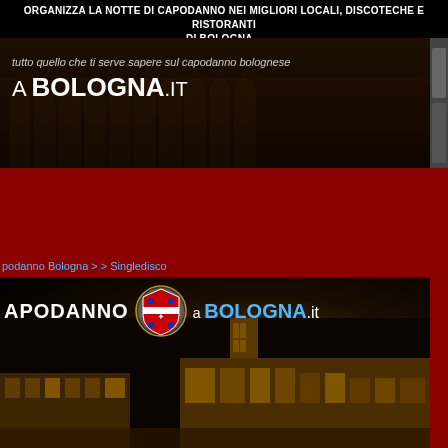ORGANIZZA LA NOTTE DI CAPODANNO NEI MIGLIORI LOCALI, DISCOTECHE E RISTORANTI DI BOLOGNA...
[Figure (screenshot): Banner with dark background showing arcaded Bologna buildings, italic tagline 'tutto quello che ti serve sapere sul capodanno bolognese' and logo 'A BOLOGNA.IT']
podanno Bologna > > Singledisco
[Figure (photo): Night photo of Bologna's Piazza Maggiore with illuminated historic buildings, featuring text 'APODANNO a BOLOGNA.it' with Bologna coat of arms shield]